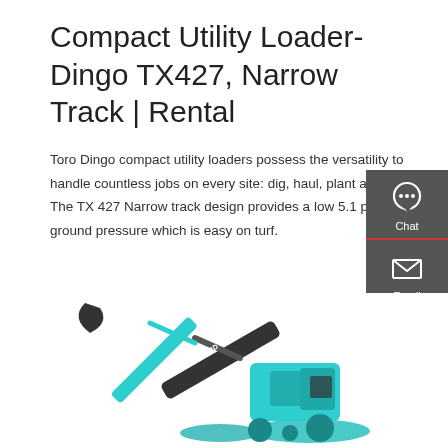Compact Utility Loader- Dingo TX427, Narrow Track | Rental
Toro Dingo compact utility loaders possess the versatility to handle countless jobs on every site: dig, haul, plant and build. The TX 427 Narrow track design provides a low 5.1 psi ground pressure which is easy on turf.
[Figure (other): Red 'Get a quote' call-to-action button]
[Figure (infographic): Dark grey sidebar with Chat, Email, and Contact icons and labels]
[Figure (photo): Teal/turquoise Sunward excavator/compact utility loader machine photographed from the side on a white background]